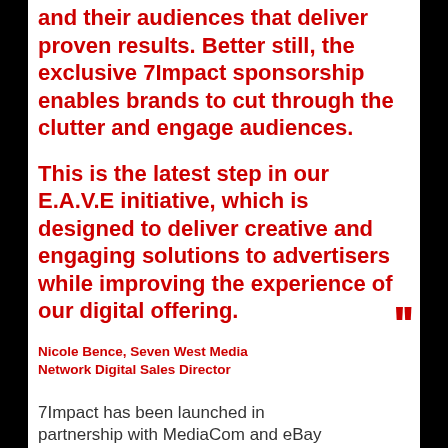and their audiences that deliver proven results. Better still, the exclusive 7Impact sponsorship enables brands to cut through the clutter and engage audiences.
This is the latest step in our E.A.V.E initiative, which is designed to deliver creative and engaging solutions to advertisers while improving the experience of our digital offering.
Nicole Bence, Seven West Media Network Digital Sales Director
7Impact has been launched in partnership with MediaCom and eBay